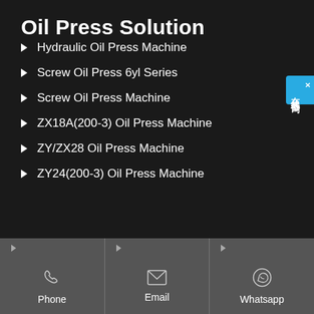Oil Press Solution
Hydraulic Oil Press Machine
Screw Oil Press 6yl Series
Screw Oil Press Machine
ZX18A(200-3) Oil Press Machine
ZY/ZX28 Oil Press Machine
ZY24(200-3) Oil Press Machine
Phone | Email | Whatsapp